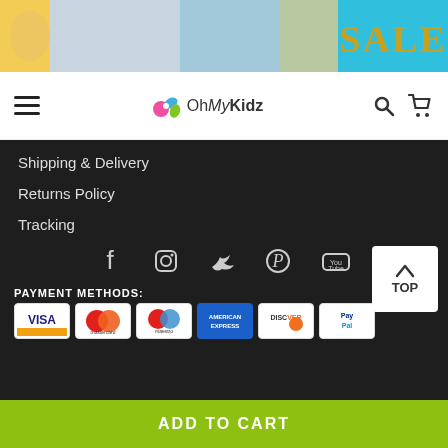[Figure (photo): Banner with sale images and SALE text in teal]
OhMyKidz navigation bar with hamburger menu, logo, search and cart icons
Shipping & Delivery
Returns Policy
Tracking
[Figure (infographic): Social media icons: Facebook, Instagram, Twitter, Pinterest, YouTube]
PAYMENT METHODS:
[Figure (infographic): Payment method icons: Visa, Mastercard, Maestro, American Express, Discover, PayPal]
TOP
ADD TO CART